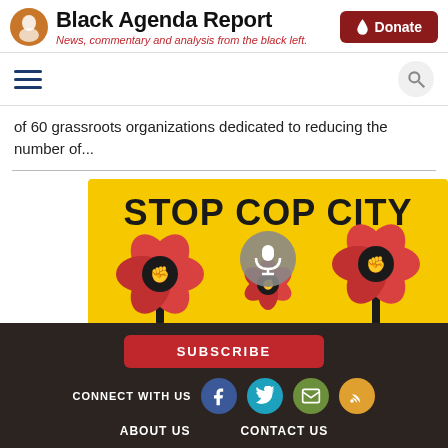Black Agenda Report — News, commentary and analysis from the black left.
of 60 grassroots organizations dedicated to reducing the number of...
[Figure (illustration): Stop Cop City graphic with yellow background, red flowers with black raised fist symbols, and bold text reading STOP COP CITY, with a microphone icon overlay in the center]
Black Agenda Radio with Margaret Kimberley
The Struggle Against Cop City in Atlanta
SUBSCRIBE | CONNECT WITH US | ABOUT US | CONTACT US